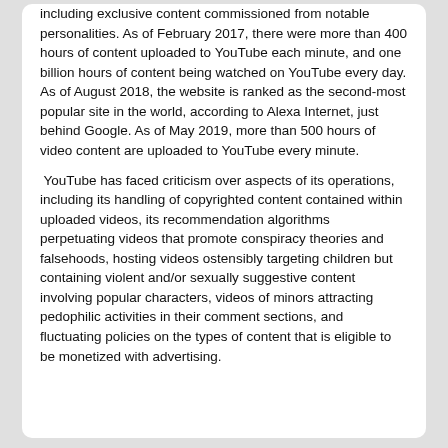including exclusive content commissioned from notable personalities. As of February 2017, there were more than 400 hours of content uploaded to YouTube each minute, and one billion hours of content being watched on YouTube every day. As of August 2018, the website is ranked as the second-most popular site in the world, according to Alexa Internet, just behind Google. As of May 2019, more than 500 hours of video content are uploaded to YouTube every minute.
YouTube has faced criticism over aspects of its operations, including its handling of copyrighted content contained within uploaded videos, its recommendation algorithms perpetuating videos that promote conspiracy theories and falsehoods, hosting videos ostensibly targeting children but containing violent and/or sexually suggestive content involving popular characters, videos of minors attracting pedophilic activities in their comment sections, and fluctuating policies on the types of content that is eligible to be monetized with advertising.